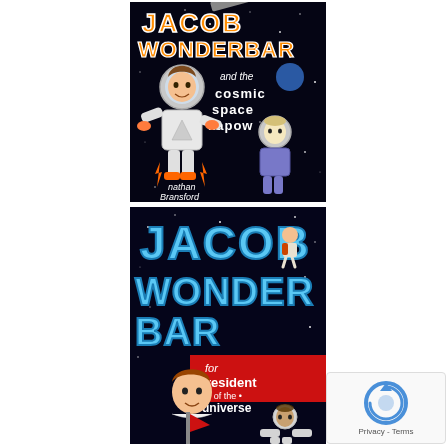[Figure (illustration): Book cover for 'Jacob Wonderbar and the Cosmic Space Kapow' by Nathan Bransford. Dark space background with cartoon characters in space suits, orange and white lettering for JACOB WONDERBAR, subtitle in white text.]
[Figure (illustration): Book cover for 'Jacob Wonderbar for President of the Universe' by Nathan Bransford. Dark space background with cartoon characters, large blue and red lettering for JACOB WONDERBAR, red banner with white text reading 'for president of the universe'.]
[Figure (other): reCAPTCHA widget in bottom right corner showing the reCAPTCHA logo (circular arrow icon) and 'Privacy - Terms' text link.]